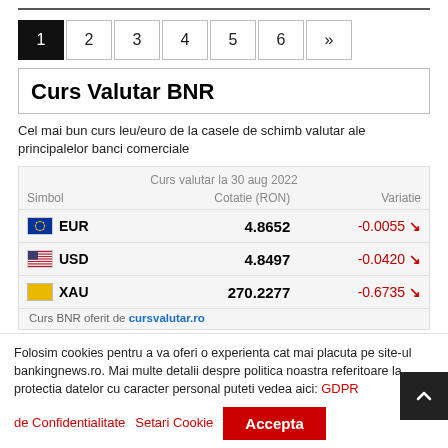1 2 3 4 5 6 »
Curs Valutar BNR
Cel mai bun curs leu/euro de la casele de schimb valutar ale principalelor banci comerciale
| Simbol | Cotatie (RON) | Variatie |
| --- | --- | --- |
| EUR | 4.8652 | -0.0055 ↘ |
| USD | 4.8497 | -0.0420 ↘ |
| XAU | 270.2277 | -0.6735 ↘ |
Curs BNR oferit de cursvalutar.ro
Folosim cookies pentru a va oferi o experienta cat mai placuta pe site-ul bankingnews.ro. Mai multe detalii despre politica noastra referitoare la protectia datelor cu caracter personal puteti vedea aici: GDPR
de Confidentialitate   Setari Cookie   Accepta